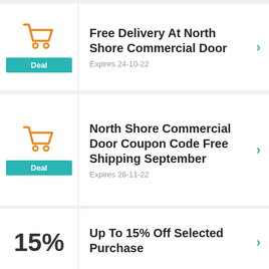[Figure (illustration): Shopping cart icon in orange with teal Deal badge]
Free Delivery At North Shore Commercial Door
Expires 24-10-22
[Figure (illustration): Shopping cart icon in orange with teal Deal badge]
North Shore Commercial Door Coupon Code Free Shipping September
Expires 26-11-22
15%
Up To 15% Off Selected Purchase